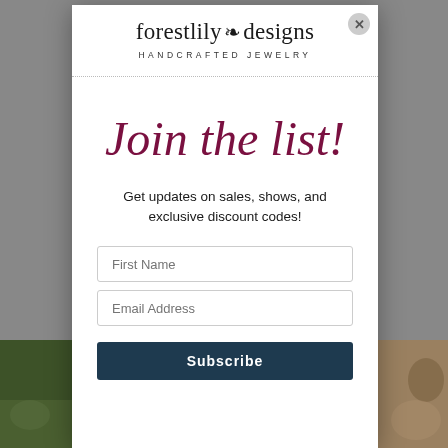[Figure (screenshot): Background dimmed webpage with photo strips at bottom showing nature/dog images]
forestlily designs HANDCRAFTED JEWELRY
Join the list!
Get updates on sales, shows, and exclusive discount codes!
First Name
Email Address
Subscribe